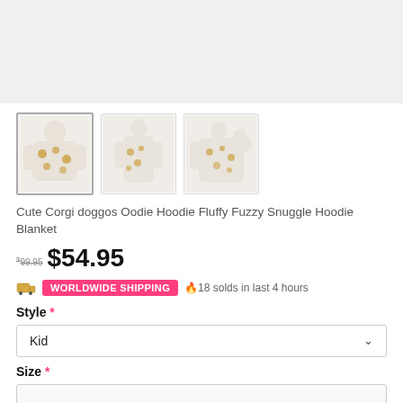[Figure (photo): Top gray banner/image area showing product lifestyle photo (partially cropped)]
[Figure (photo): Three product thumbnail images of a Corgi-patterned hoodie blanket worn by a model in different poses. First thumbnail is selected/highlighted.]
Cute Corgi doggos Oodie Hoodie Fluffy Fuzzy Snuggle Hoodie Blanket
$ 99.95  $54.95
WORLDWIDE SHIPPING  🔥18 solds in last 4 hours
Style *
Kid
Size *